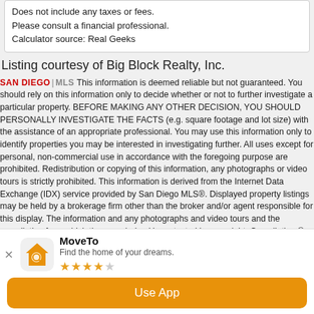Does not include any taxes or fees.
Please consult a financial professional.
Calculator source: Real Geeks
Listing courtesy of Big Block Realty, Inc.
This information is deemed reliable but not guaranteed. You should rely on this information only to decide whether or not to further investigate a particular property. BEFORE MAKING ANY OTHER DECISION, YOU SHOULD PERSONALLY INVESTIGATE THE FACTS (e.g. square footage and lot size) with the assistance of an appropriate professional. You may use this information only to identify properties you may be interested in investigating further. All uses except for personal, non-commercial use in accordance with the foregoing purpose are prohibited. Redistribution or copying of this information, any photographs or video tours is strictly prohibited. This information is derived from the Internet Data Exchange (IDX) service provided by San Diego MLS®. Displayed property listings may be held by a brokerage firm other than the broker and/or agent responsible for this display. The information and any photographs and video tours and the compilation from which they are derived is protected by copyright. Compilation © 2022 San Diego MLS®,
MoveTo
Find the home of your dreams.
Use App